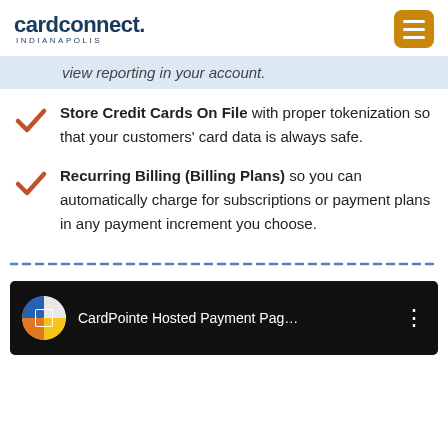cardconnect. INDIANAPOLIS
view reporting in your account.
Store Credit Cards On File with proper tokenization so that your customers' card data is always safe.
Recurring Billing (Billing Plans) so you can automatically charge for subscriptions or payment plans in any payment increment you choose.
[Figure (other): Dashed blue horizontal divider line]
[Figure (screenshot): CardPointe Hosted Payment Pag... video thumbnail with YouTube-style icon and three-dot menu]